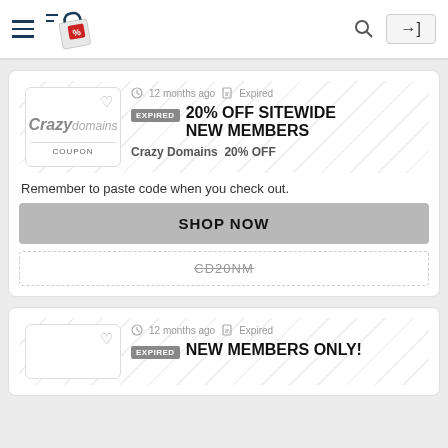Navigation header with hamburger menu, logo, search and login
12 months ago  Expired
EXPIRED 20% OFF SITEWIDE NEW MEMBERS
Crazy Domains  20% OFF
Remember to paste code when you check out.
SHOP NOW
CD20NM
12 months ago  Expired
EXPIRED NEW MEMBERS ONLY!